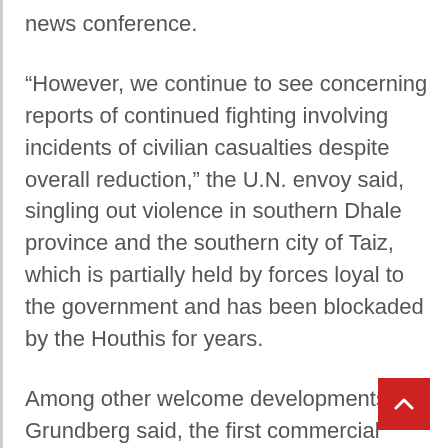news conference.
“However, we continue to see concerning reports of continued fighting involving incidents of civilian casualties despite overall reduction,” the U.N. envoy said, singling out violence in southern Dhale province and the southern city of Taiz, which is partially held by forces loyal to the government and has been blockaded by the Houthis for years.
Among other welcome developments, Grundberg said, the first commercial flight in almost six years took off from Sanaa airport for Jordan’s capital, Amman, on Monday and another flight brought Yemenis back. A second flight to Amman is scheduled for Wednesday